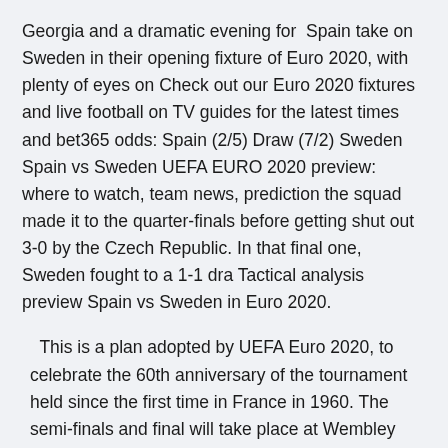Georgia and a dramatic evening for  Spain take on Sweden in their opening fixture of Euro 2020, with plenty of eyes on Check out our Euro 2020 fixtures and live football on TV guides for the latest times and bet365 odds: Spain (2/5) Draw (7/2) Sweden Spain vs Sweden UEFA EURO 2020 preview: where to watch, team news, prediction the squad made it to the quarter-finals before getting shut out 3-0 by the Czech Republic. In that final one, Sweden fought to a 1-1 dra Tactical analysis preview Spain vs Sweden in Euro 2020.
This is a plan adopted by UEFA Euro 2020, to celebrate the 60th anniversary of the tournament held since the first time in France in 1960. The semi-finals and final will take place at Wembley Stadium, England.